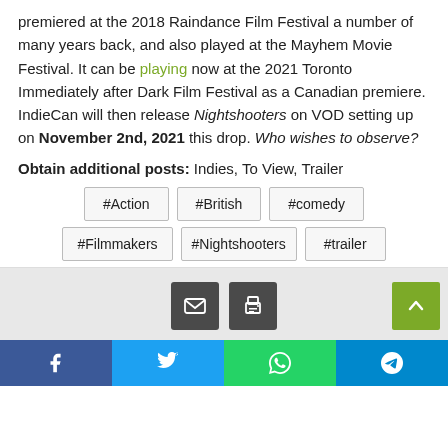premiered at the 2018 Raindance Film Festival a number of many years back, and also played at the Mayhem Movie Festival. It can be playing now at the 2021 Toronto Immediately after Dark Film Festival as a Canadian premiere. IndieCan will then release Nightshooters on VOD setting up on November 2nd, 2021 this drop. Who wishes to observe?
Obtain additional posts: Indies, To View, Trailer
#Action
#British
#comedy
#Filmmakers
#Nightshooters
#trailer
[Figure (infographic): Share buttons: email and print icons on grey background, with green scroll-to-top button on the right]
[Figure (infographic): Social media share bar with Facebook, Twitter, WhatsApp, and Telegram buttons]